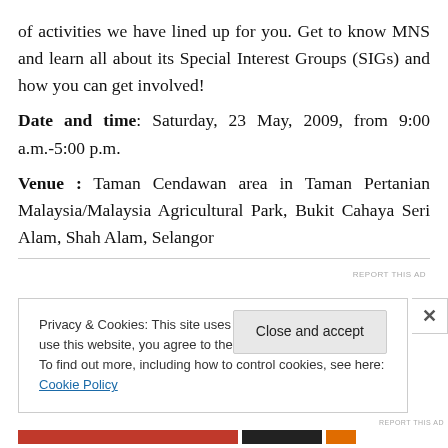of activities we have lined up for you. Get to know MNS and learn all about its Special Interest Groups (SIGs) and how you can get involved!
Date and time: Saturday, 23 May, 2009, from 9:00 a.m.-5:00 p.m.
Venue : Taman Cendawan area in Taman Pertanian Malaysia/Malaysia Agricultural Park, Bukit Cahaya Seri Alam, Shah Alam, Selangor
Privacy & Cookies: This site uses cookies. By continuing to use this website, you agree to their use. To find out more, including how to control cookies, see here: Cookie Policy
Close and accept